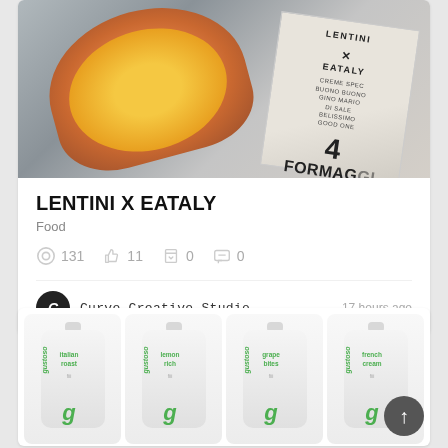[Figure (photo): Product photo of Lentini x Eataly pizza packaging on marble surface showing pizza and '4 Formaggi' label]
LENTINI X EATALY
Food
131 views, 11 likes, 0 saves, 0 comments
Curve Creative Studio   17 hours ago
[Figure (photo): Four 'gustoso' branded food pouches showing different flavors: italian roast, lemon rich, grape bites, french cream]